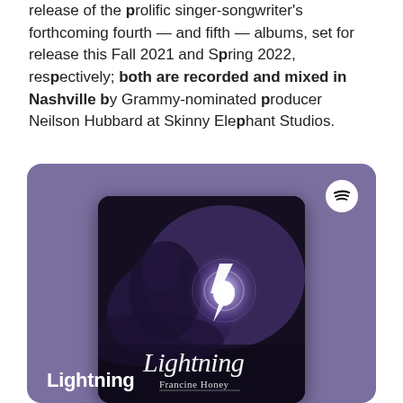release of the prolific singer-songwriter's forthcoming fourth — and fifth — albums, set for release this Fall 2021 and Spring 2022, respectively; both are recorded and mixed in Nashville by Grammy-nominated producer Neilson Hubbard at Skinny Elephant Studios.
[Figure (screenshot): Spotify player card with purple background showing the album art for 'Lightning' by Francine Honey. The album art has a dark background with a glowing lightning bolt and a figure. The title 'Lightning' is displayed in cursive white text with 'Francine Honey' below it. A Spotify logo icon is in the top right of the card. At the bottom of the card the text 'Lightning' appears in bold white.]